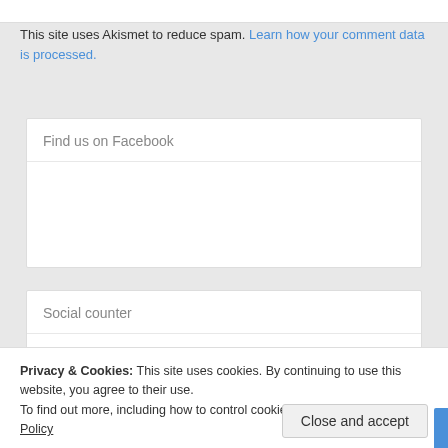This site uses Akismet to reduce spam. Learn how your comment data is processed.
Find us on Facebook
Social counter
8,751 Followers   Follow
Privacy & Cookies: This site uses cookies. By continuing to use this website, you agree to their use.
To find out more, including how to control cookies, see here: Cookie Policy
Close and accept